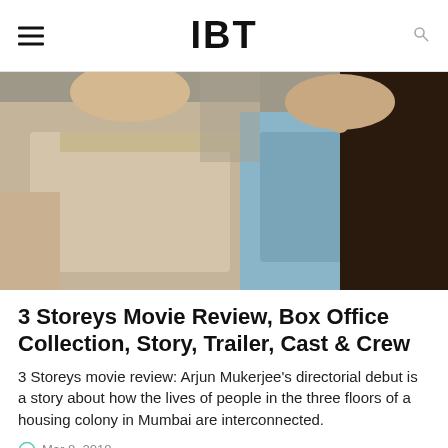IBT
[Figure (photo): Two people walking side by side, a man in a beige shirt and a woman in a blue top with dark hair]
3 Storeys Movie Review, Box Office Collection, Story, Trailer, Cast & Crew
3 Storeys movie review: Arjun Mukerjee's directorial debut is a story about how the lives of people in the three floors of a housing colony in Mumbai are interconnected.
Mar 8, 2018
[Figure (screenshot): Partial bottom image showing a banner with text including college life]